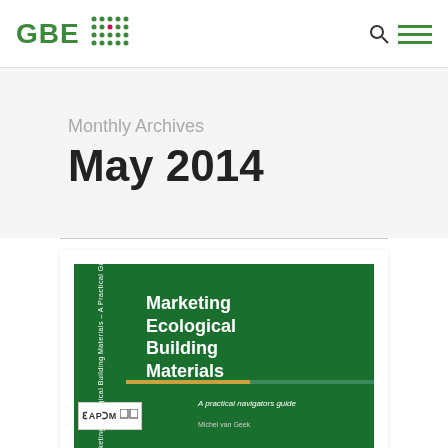GBE — Monthly Archives
Monthly Archives
May 2014
[Figure (illustration): Book cover for 'Marketing Ecological Building Materials — A Practical Guide' by Michel van Geek, published by CAPSM. Green cover with white title text on right side, vertical spine text on left, colored horizontal bar near bottom, and CAPSM logo box at lower left.]